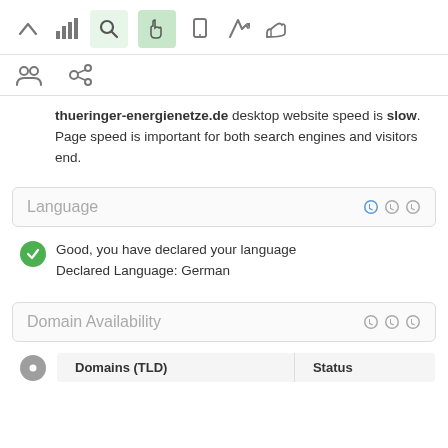[Figure (screenshot): Navigation toolbar with icons: up arrow, bar chart, search (light green bg), hand pointer (green bg), mobile, rocket, thumbs up]
[Figure (screenshot): Secondary icon row: people/group icon and chain/link icon]
thueringer-energienetze.de desktop website speed is slow. Page speed is important for both search engines and visitors end.
Language
Good, you have declared your language
Declared Language: German
Domain Availability
| Domains (TLD) | Status |
| --- | --- |